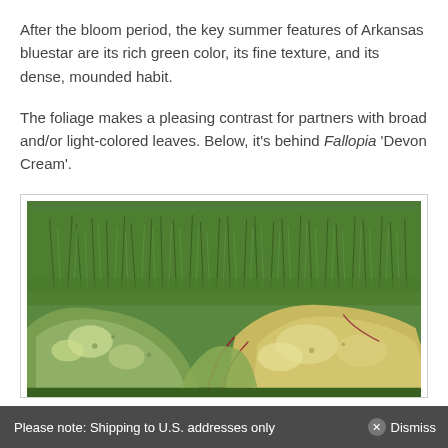After the bloom period, the key summer features of Arkansas bluestar are its rich green color, its fine texture, and its dense, mounded habit.
The foliage makes a pleasing contrast for partners with broad and/or light-colored leaves. Below, it's behind Fallopia 'Devon Cream'.
[Figure (photo): Photo of Fallopia 'Devon Cream' plant with broad cream and green variegated leaves in foreground and dense fine-textured green Arkansas bluestar foliage in the background.]
Please note: Shipping to U.S. addresses only   Dismiss